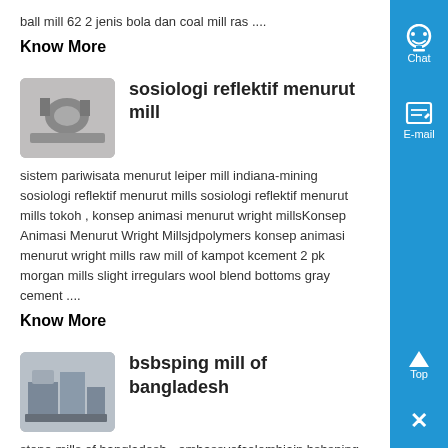ball mill 62 2 jenis bola dan coal mill ras ....
Know More
[Figure (photo): Thumbnail image of industrial mill machinery, grayscale]
sosiologi reflektif menurut mill
sistem pariwisata menurut leiper mill indiana-mining sosiologi reflektif menurut mills sosiologi reflektif menurut mills tokoh , konsep animasi menurut wright millsKonsep Animasi Menurut Wright Millsjdpolymers konsep animasi menurut wright mills raw mill of kampot kcement 2 pk morgan mills slight irregulars wool blend bottoms gray cement ....
Know More
[Figure (photo): Thumbnail image of industrial bsbsping mill machinery]
bsbsping mill of bangladesh
stone mills of bangladesh - embassyofcolombiain bsbsping mill of bangladesh - mathsclinicclub bsbsping mill of bangladesh 2 pk morgan mills slight irregulars wool blend bottoms gray abrasive plant and machinery block diagram of stone crusher plant bsbsping mill of bangladesh SHANGHAI NMN MACHINERY CO. LTD is one high-tech enterprise, which